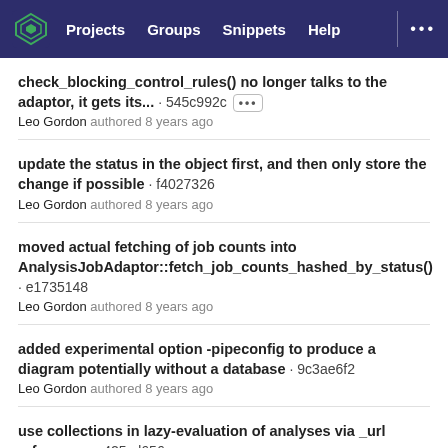Projects  Groups  Snippets  Help  ...
check_blocking_control_rules() no longer talks to the adaptor, it gets its... · 545c992c
Leo Gordon authored 8 years ago
update the status in the object first, and then only store the change if possible · f4027326
Leo Gordon authored 8 years ago
moved actual fetching of job counts into AnalysisJobAdaptor::fetch_job_counts_hashed_by_status() · e1735148
Leo Gordon authored 8 years ago
added experimental option -pipeconfig to produce a diagram potentially without a database · 9c3ae6f2
Leo Gordon authored 8 years ago
use collections in lazy-evaluation of analyses via _url references · 425cd656